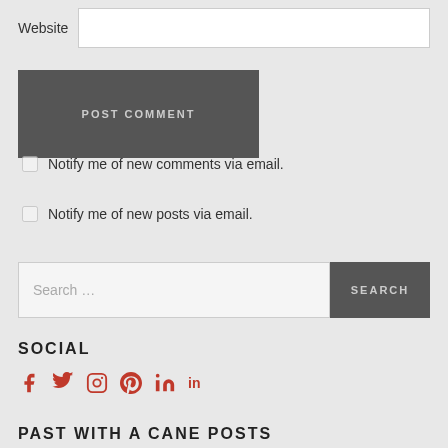Website
POST COMMENT
Notify me of new comments via email.
Notify me of new posts via email.
Search …
SOCIAL
[Figure (illustration): Social media icons: Facebook, Twitter, Instagram, Pinterest, LinkedIn in red/crimson color]
PAST WITH A CANE POSTS